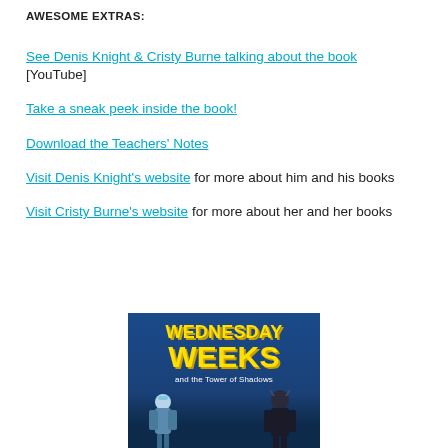AWESOME EXTRAS:
See Denis Knight & Cristy Burne talking about the book [YouTube]
Take a sneak peek inside the book!
Download the Teachers' Notes
Visit Denis Knight's website for more about him and his books
Visit Cristy Burne's website for more about her and her books
[Figure (illustration): Book cover of 'Wednesday Weeks and the Tower of Shadows' showing yellow title text on a dark blue background with character silhouettes]